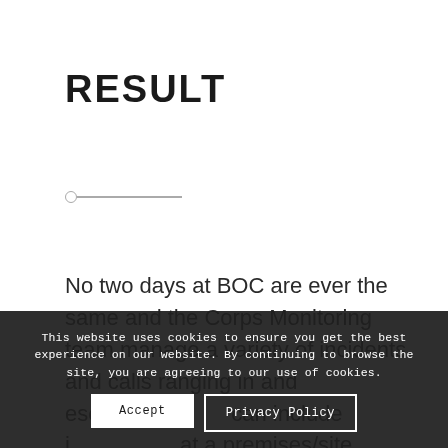RESULT
[Figure (other): Decorative horizontal divider with a small open circle on the left end followed by a thin horizontal line]
No two days at BOC are ever the same and the Corps Monitoring team manage a variety of incidents and calls ranging in and escalatio can include i at a premises/site, attempted theft, fire alarm
This website uses cookies to ensure you get the best experience on our website. By continuing to browse the site, you are agreeing to our use of cookies.
Accept
Privacy Policy